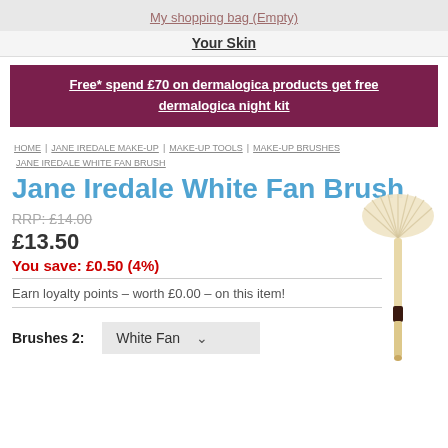My shopping bag (Empty)
Your Skin
Free* spend £70 on dermalogica products get free dermalogica night kit
HOME / JANE IREDALE MAKE-UP / MAKE-UP TOOLS / MAKE-UP BRUSHES / JANE IREDALE WHITE FAN BRUSH
Jane Iredale White Fan Brush
RRP: £14.00
£13.50
You save: £0.50 (4%)
Earn loyalty points – worth £0.00 – on this item!
[Figure (photo): Jane Iredale White Fan Brush product image — a fan-shaped makeup brush with cream/ivory fan bristles and a cream and dark brown handle]
Brushes 2: White Fan